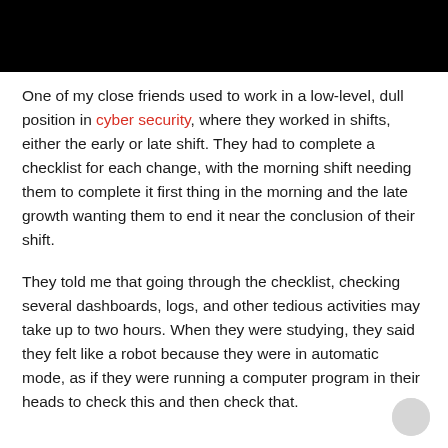[Figure (other): Black rectangular bar at the top of the page]
One of my close friends used to work in a low-level, dull position in cyber security, where they worked in shifts, either the early or late shift. They had to complete a checklist for each change, with the morning shift needing them to complete it first thing in the morning and the late growth wanting them to end it near the conclusion of their shift.
They told me that going through the checklist, checking several dashboards, logs, and other tedious activities may take up to two hours. When they were studying, they said they felt like a robot because they were in automatic mode, as if they were running a computer program in their heads to check this and then check that.